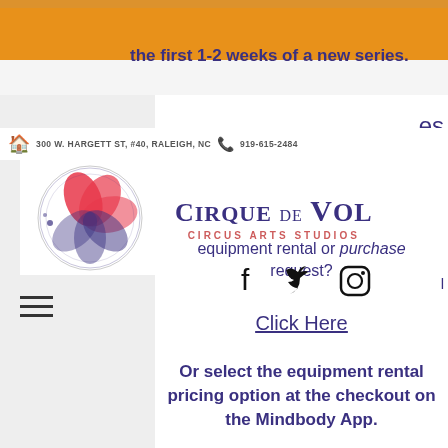the first 1-2 weeks of a new series.
300 W. HARGETT ST, #40, RALEIGH, NC   919-615-2484
es
[Figure (logo): Cirque de Vol Circus Arts Studios logo with decorative circular emblem]
equipment rental or purchase request?
Click Here
Or select the equipment rental pricing option at the checkout on the Mindbody App.
Interested in a Private Group Class or Private Lesson? Submit a